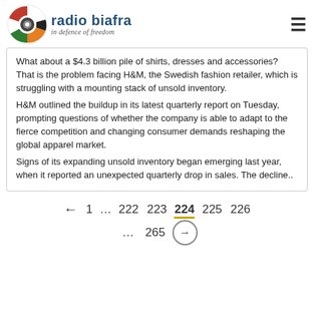radio biafra — in defence of freedom
What about a $4.3 billion pile of shirts, dresses and accessories? That is the problem facing H&M, the Swedish fashion retailer, which is struggling with a mounting stack of unsold inventory.
H&M outlined the buildup in its latest quarterly report on Tuesday, prompting questions of whether the company is able to adapt to the fierce competition and changing consumer demands reshaping the global apparel market.
Signs of its expanding unsold inventory began emerging last year, when it reported an unexpected quarterly drop in sales. The decline..
← 1 … 222 223 224 225 226 … 265 →